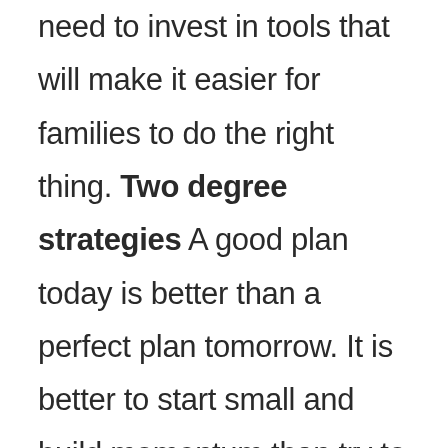need to invest in tools that will make it easier for families to do the right thing. Two degree strategies A good plan today is better than a perfect plan tomorrow. It is better to start small and build momentum than try to change everything all at once or achieve complete buy-in for all actors. Using the most